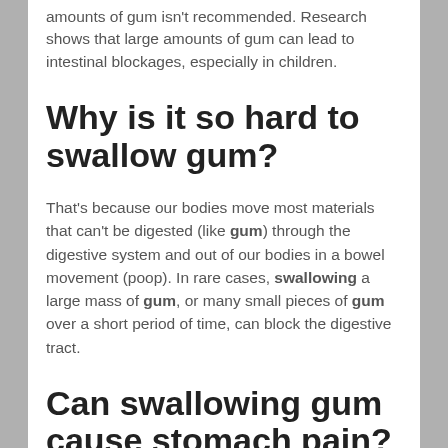amounts of gum isn't recommended. Research shows that large amounts of gum can lead to intestinal blockages, especially in children.
Why is it so hard to swallow gum?
That's because our bodies move most materials that can't be digested (like gum) through the digestive system and out of our bodies in a bowel movement (poop). In rare cases, swallowing a large mass of gum, or many small pieces of gum over a short period of time, can block the digestive tract.
Can swallowing gum cause stomach pain?